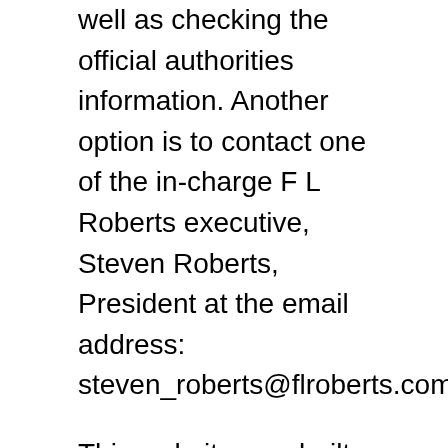well as checking the official authorities information. Another option is to contact one of the in-charge F L Roberts executive, Steven Roberts, President at the email address: steven_roberts@flroberts.com.
This website was built to provide the most up-to-date, important contact information about the F L Roberts Corporate Office & Headquarters including: F L Roberts Address, Corporate Number, Human Resources and more.
This headquarterscontacts.com website is a leading independent hub that has no